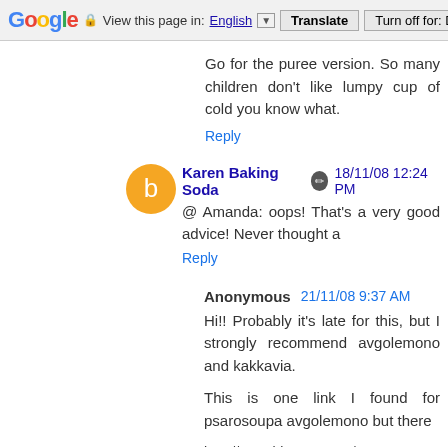Google  View this page in: English [▼]  Translate  Turn off for: D
Go for the puree version. So many children don't like lumpy cup of cold you know what.
Reply
Karen Baking Soda  18/11/08 12:24 PM
@ Amanda: oops! That's a very good advice! Never thought a
Reply
Anonymous  21/11/08 9:37 AM
Hi!! Probably it's late for this, but I strongly recommend avgolemono and kakkavia.
This is one link I found for psarosoupa avgolemono but there
http://www.bigoven.com/132232-Psarosoupa-Avgolemono-(F recipe.html